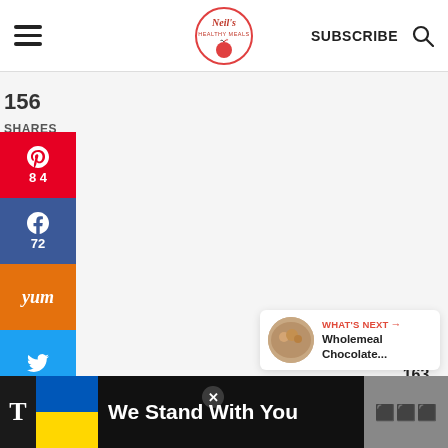[Figure (logo): Neil's Healthy Meals logo - circular red border with 'Neil's Healthy Meals' text and a red apple icon]
SUBSCRIBE
156
SHARES
84
72
[Figure (infographic): Social share bar with Pinterest (84), Facebook (72), Yummly, and Twitter buttons on the left side]
[Figure (infographic): Heart/like button with count 163 and share button floating on right side]
163
WHAT'S NEXT → Wholemeal Chocolate...
We Stand With You